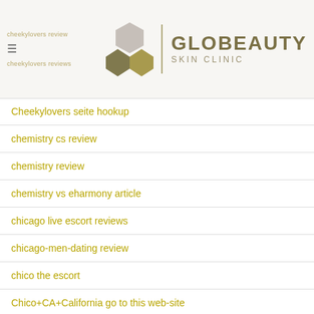cheekylovers review | GLOBEAUTY SKIN CLINIC | cheekylovers reviews
Cheekylovers seite hookup
chemistry cs review
chemistry review
chemistry vs eharmony article
chicago live escort reviews
chicago-men-dating review
chico the escort
Chico+CA+California go to this web-site
chinalovecupid fr reviews
chinalovecupid reviews
Chinese Dating Sites apps